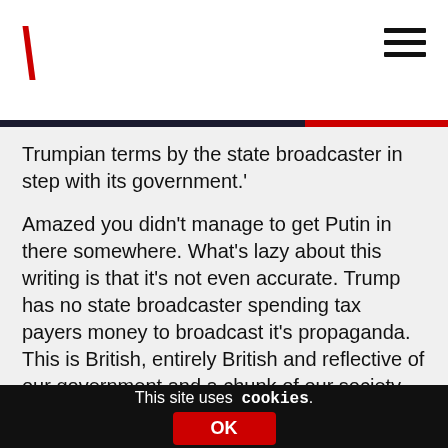\ [logo backslash] with hamburger menu
Trumpian terms by the state broadcaster in step with its government.'

Amazed you didn't manage to get Putin in there somewhere. What's lazy about this writing is that it's not even accurate. Trump has no state broadcaster spending tax payers money to broadcast it's propaganda. This is British, entirely British and reflective of our government and a chunk of our society – it requires no disassociation with the UK to align it with Trump in an effort to make it appear as an alien concept.
This site uses cookies.
OK